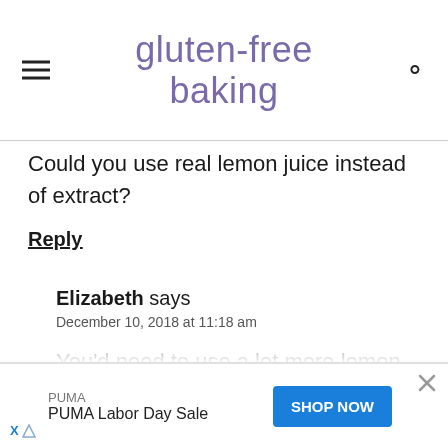gluten-free baking
Could you use real lemon juice instead of extract?
Reply
Elizabeth says
December 10, 2018 at 11:18 am
You'd need to use a lot more lemon juice than extract. This additional liquid
PUMA
PUMA Labor Day Sale
SHOP NOW